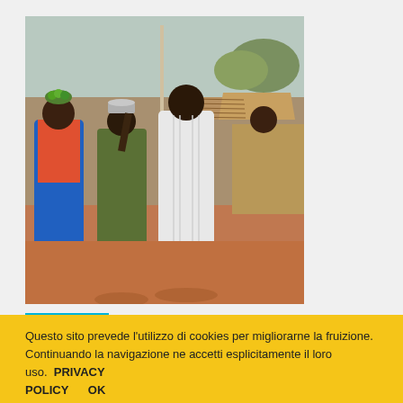[Figure (photo): Outdoor market scene in rural Africa. Several people in traditional colorful clothing stand in a dusty street. A tall man in a white robe stands in the center, a woman in an olive-green dress stands to his left balancing a basin on her head. Another woman in colorful fabric stands to the left. Thatched-roof stalls visible in the background.]
PROJECT
PROVEN in rural Africa (PROVEN)
Questo sito prevede l'utilizzo di cookies per migliorarne la fruizione. Continuando la navigazione ne accetti esplicitamente il loro uso.  PRIVACY POLICY      OK